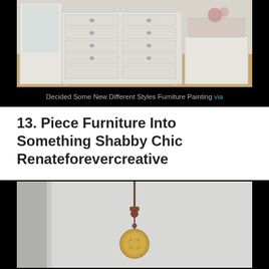[Figure (photo): White French provincial dresser/armoire furniture set in a room with wooden floor, displayed against a light background]
Decided Some New Different Styles Furniture Painting via
13. Piece Furniture Into Something Shabby Chic Renateforevercreative
[Figure (photo): A decorative pendant or ornament hanging against a light grey/white wall, featuring a round medallion with floral design suspended by a dark cord with beaded connector]